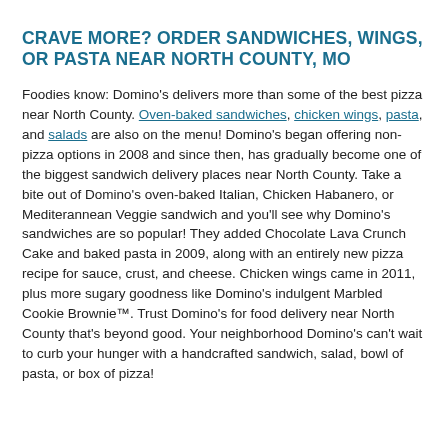CRAVE MORE? ORDER SANDWICHES, WINGS, OR PASTA NEAR NORTH COUNTY, MO
Foodies know: Domino's delivers more than some of the best pizza near North County. Oven-baked sandwiches, chicken wings, pasta, and salads are also on the menu! Domino's began offering non-pizza options in 2008 and since then, has gradually become one of the biggest sandwich delivery places near North County. Take a bite out of Domino's oven-baked Italian, Chicken Habanero, or Mediterannean Veggie sandwich and you'll see why Domino's sandwiches are so popular! They added Chocolate Lava Crunch Cake and baked pasta in 2009, along with an entirely new pizza recipe for sauce, crust, and cheese. Chicken wings came in 2011, plus more sugary goodness like Domino's indulgent Marbled Cookie Brownie™. Trust Domino's for food delivery near North County that's beyond good. Your neighborhood Domino's can't wait to curb your hunger with a handcrafted sandwich, salad, bowl of pasta, or box of pizza!